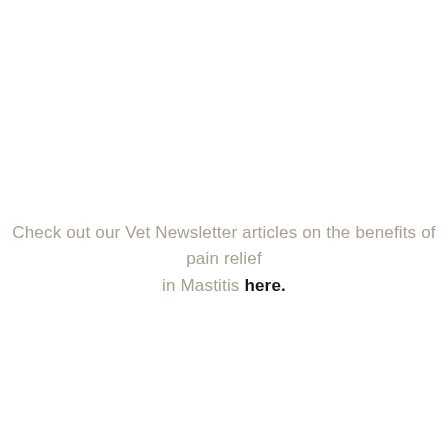Check out our Vet Newsletter articles on the benefits of pain relief in Mastitis here.